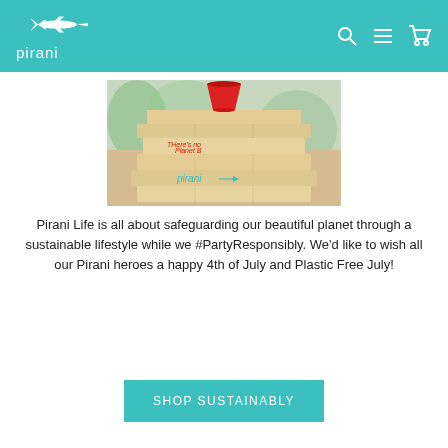pirani
[Figure (photo): Jenga blocks stacked with text 'There's no Planet B' written in red on one block, and 'pirani' logo in teal on a lower block, with a red cup on top. Outdoor setting with blurred greenery background.]
Pirani Life is all about safeguarding our beautiful planet through a sustainable lifestyle while we #PartyResponsibly. We'd like to wish all our Pirani heroes a happy 4th of July and Plastic Free July!
SHOP SUSTAINABLY